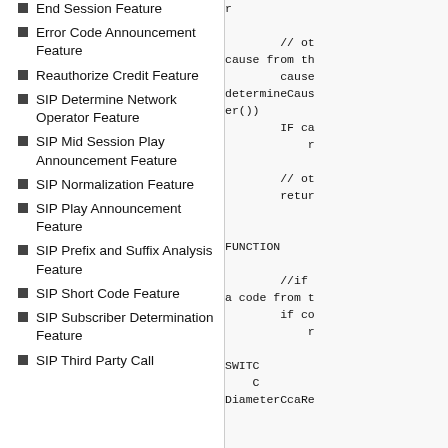End Session Feature
Error Code Announcement Feature
Reauthorize Credit Feature
SIP Determine Network Operator Feature
SIP Mid Session Play Announcement Feature
SIP Normalization Feature
SIP Play Announcement Feature
SIP Prefix and Suffix Analysis Feature
SIP Short Code Feature
SIP Subscriber Determination Feature
SIP Third Party Call
// ot
cause from th
    cause
determineCaus
er())
    IF ca
        r

    // ot
    retur


FUNCTION

    //if
a code from t
    if co
        r

SWITC
    C
DiameterCcaRe